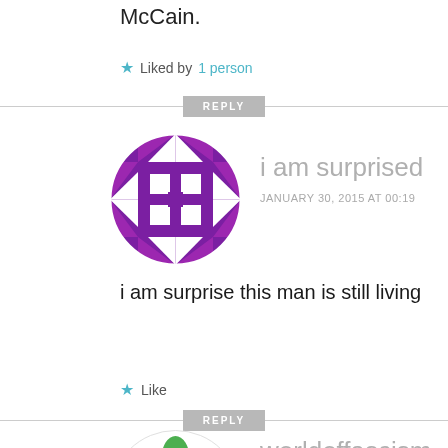McCain.
★ Liked by 1 person
REPLY
i am surprised
JANUARY 30, 2015 AT 00:19
[Figure (illustration): Purple geometric/quilt-pattern avatar circle]
i am surprise this man is still living
★ Like
REPLY
[Figure (illustration): Green geometric flower-pattern avatar circle (partial)]
worldoffascism